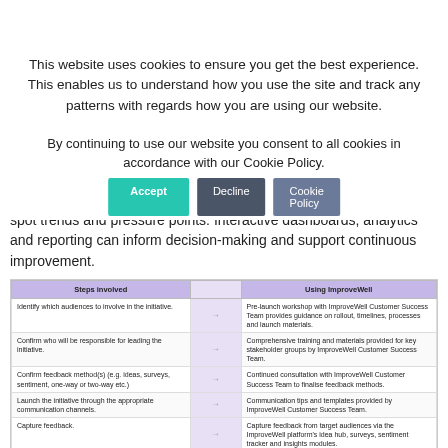This website uses cookies to ensure you get the best experience. This enables us to understand how you use the site and track any patterns with regards how you are using our website.
By continuing to use our website you consent to all cookies in accordance with our Cookie Policy.
spot trends and pressure points. Interactive dashboards, analytics and reporting can inform decision-making and support continuous improvement.
| Steps involved |  | Using ImproveWell |
| --- | --- | --- |
| Identify which audiences to involve in the initiative. | → | Pre-launch workshop with ImproveWell Customer Success Team provides guidance on rollout, timelines, processes and launch materials. |
| Confirm who will be responsible for leading the initiative. | → | Comprehensive training and materials provided for key stakeholder groups by ImproveWell Customer Success Team. |
| Confirm feedback method(s) (e.g. ideas, surveys, sentiment, one-way or two-way etc.) | → | Continued consultation with ImproveWell Customer Success Team to finalise feedback methods. |
| Launch the initiative through the appropriate communication channels. | → | Communication tips and templates provided by ImproveWell Customer Success Team. |
| Capture feedback. | → | Capture feedback from target audiences via the ImproveWell platform's idea hub, surveys, sentiment tracker and insights modules. |
| Review feedback and prioritise. | → | Review, tag, categorise and prioritise feedback via the ImproveWell platform. |
| Make improvements. | → | Assign a 3-stage progress rating score to ideas in the central Improvement Log, analyse survey results and sentiment trends. |